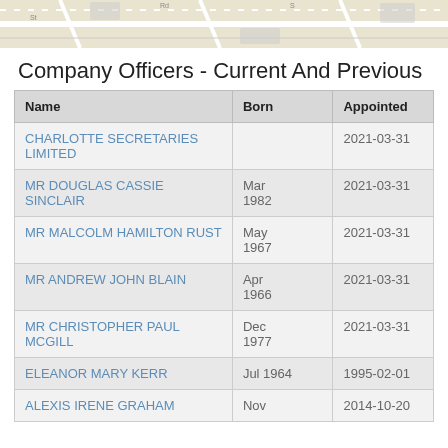[Figure (map): Partial street map background strip at top of page]
Company Officers - Current And Previous
| Name | Born | Appointed |
| --- | --- | --- |
| CHARLOTTE SECRETARIES LIMITED |  | 2021-03-31 |
| MR DOUGLAS CASSIE SINCLAIR | Mar
1982 | 2021-03-31 |
| MR MALCOLM HAMILTON RUST | May
1967 | 2021-03-31 |
| MR ANDREW JOHN BLAIN | Apr
1966 | 2021-03-31 |
| MR CHRISTOPHER PAUL MCGILL | Dec
1977 | 2021-03-31 |
| ELEANOR MARY KERR | Jul 1964 | 1995-02-01 |
| ALEXIS IRENE GRAHAM | Nov | 2014-10-20 |